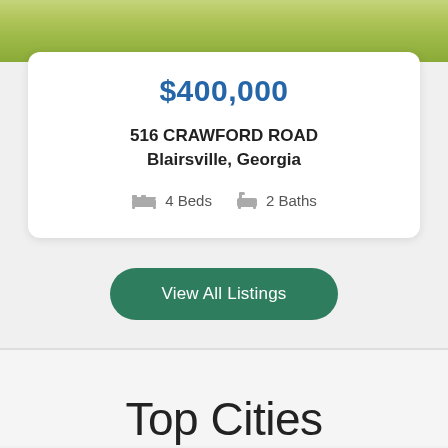[Figure (photo): Green grass lawn photo at the top of the page]
$400,000
516 CRAWFORD ROAD
Blairsville, Georgia
4 Beds  2 Baths
View All Listings
Top Cities